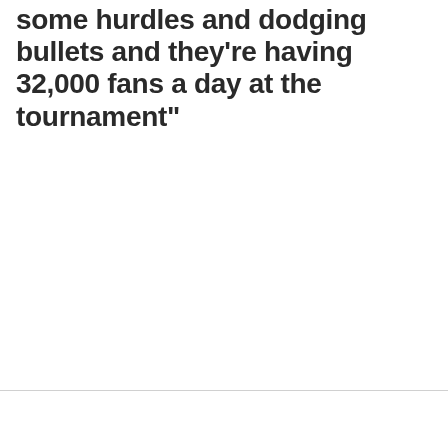some hurdles and dodging bullets and they're having 32,000 fans a day at the tournament"